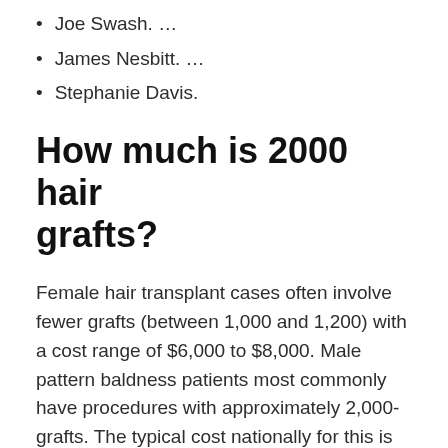Joe Swash. …
James Nesbitt. …
Stephanie Davis.
How much is 2000 hair grafts?
Female hair transplant cases often involve fewer grafts (between 1,000 and 1,200) with a cost range of $6,000 to $8,000. Male pattern baldness patients most commonly have procedures with approximately 2,000-grafts. The typical cost nationally for this is $8,000 to $102,000.
Where do celebrities get hair transplant?